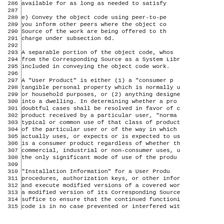286   available for as long as needed to satisfy
287
288   e) Convey the object code using peer-to-pe
289   you inform other peers where the object co
290   Source of the work are being offered to th
291   charge under subsection 6d.
292
293   A separable portion of the object code, whos
294 from the Corresponding Source as a System Libr
295 included in conveying the object code work.
296
297   A "User Product" is either (1) a "consumer p
298 tangible personal property which is normally u
299 or household purposes, or (2) anything designe
300 into a dwelling.  In determining whether a pro
301 doubtful cases shall be resolved in favor of c
302 product received by a particular user, "norma
303 typical or common use of that class of product
304 of the particular user or of the way in which
305 actually uses, or expects or is expected to us
306 is a consumer product regardless of whether th
307 commercial, industrial or non-consumer uses, u
308 the only significant mode of use of the produ
309
310   "Installation Information" for a User Produ
311 procedures, authorization keys, or other infor
312 and execute modified versions of a covered wor
313 a modified version of its Corresponding Source
314 suffice to ensure that the continued functioni
315 code is in no case prevented or interfered wit